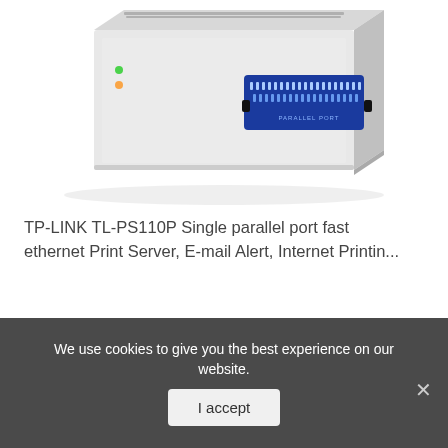[Figure (photo): TP-LINK TL-PS110P print server device — silver/white rectangular box with a blue parallel port connector on the front, viewed from a slight angle above.]
TP-LINK TL-PS110P Single parallel port fast ethernet Print Server, E-mail Alert, Internet Printin...
[Figure (photo): Samsung Galaxy Tab 4 tablet showing a colorful geometric lock screen with time 12:45 PM, in a dark gray bezel, partial view from the top.]
We use cookies to give you the best experience on our website.
I accept